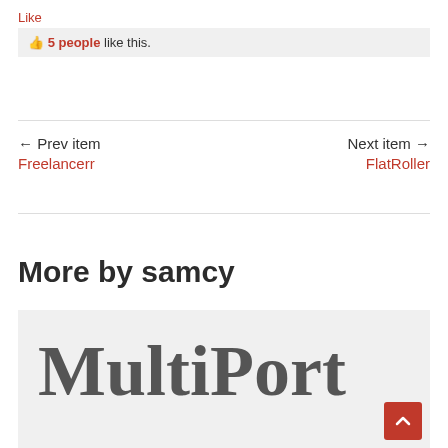Like
👍 5 people like this.
← Prev item
Freelancerr
Next item →
FlatRoller
More by samcy
[Figure (screenshot): Card thumbnail showing 'MultiPort' text in large serif font on a light gray background, with a red scroll-to-top button in the bottom right corner.]